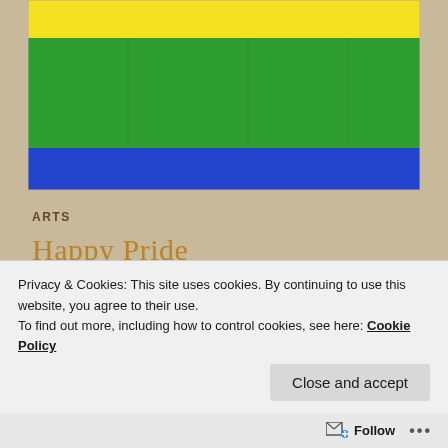[Figure (photo): A pride flag with horizontal stripes of yellow, green, blue colors photographed on fabric]
ARTS
Happy Pride
Pride is a reminder that throughout the year we must continue to stand with and support the members of the LGBTQIA+ community in their efforts to forge a society where there is acceptance, unity and equity for all because it's not just their fight, but a fight for all of us. Only when there is acceptance, equality, unity and justice
Privacy & Cookies: This site uses cookies. By continuing to use this website, you agree to their use.
To find out more, including how to control cookies, see here: Cookie Policy
Close and accept